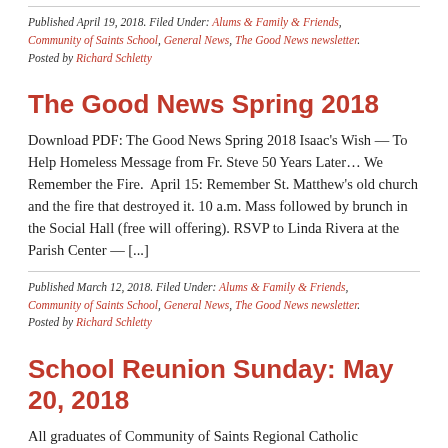Published April 19, 2018. Filed Under: Alums & Family & Friends, Community of Saints School, General News, The Good News newsletter. Posted by Richard Schletty
The Good News Spring 2018
Download PDF: The Good News Spring 2018 Isaac's Wish — To Help Homeless Message from Fr. Steve 50 Years Later... We Remember the Fire.  April 15: Remember St. Matthew's old church and the fire that destroyed it. 10 a.m. Mass followed by brunch in the Social Hall (free will offering). RSVP to Linda Rivera at the Parish Center — [...]
Published March 12, 2018. Filed Under: Alums & Family & Friends, Community of Saints School, General News, The Good News newsletter. Posted by Richard Schletty
School Reunion Sunday: May 20, 2018
All graduates of Community of Saints Regional Catholic